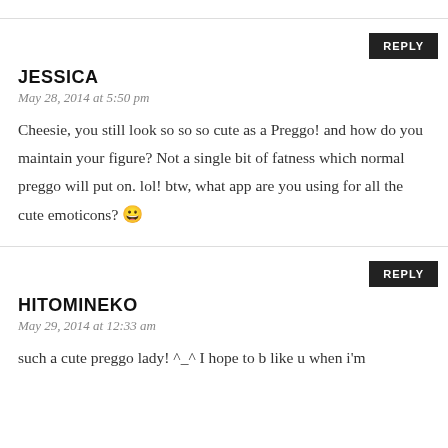JESSICA
May 28, 2014 at 5:50 pm
Cheesie, you still look so so so cute as a Preggo! and how do you maintain your figure? Not a single bit of fatness which normal preggo will put on. lol! btw, what app are you using for all the cute emoticons? 😀
HITOMINEKO
May 29, 2014 at 12:33 am
such a cute preggo lady! ^_^ I hope to b like u when i'm